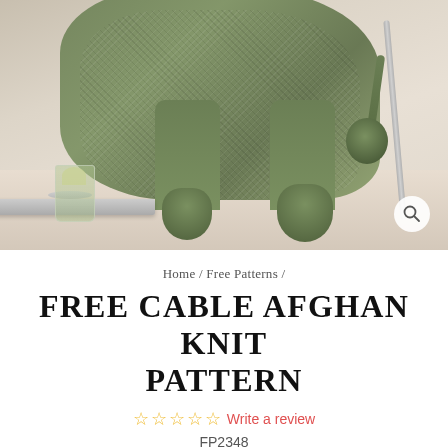[Figure (photo): A green cable-knit afghan blanket draped over furniture legs with decorative tassels, alongside a silver tray with a glass of liquid on a light wood floor. A metal stand is visible in the background. A search/zoom icon appears in the lower right of the photo.]
Home / Free Patterns /
FREE CABLE AFGHAN KNIT PATTERN
☆☆☆☆☆ Write a review
FP2348